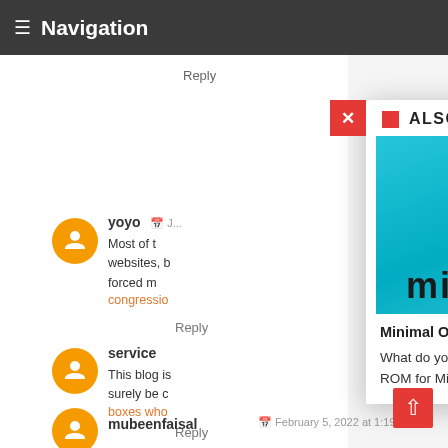Navigation
Reply
yoyo
Most of t
websites, b
forced m
congressio
Reply
service
This blog is
surely be c
boxes who
Reply
ALSO READ
[Figure (screenshot): Minimal OS promotional image with teal gradient background, pink lollipop logo, text 'minimal OS' and 'PORTED BY: VIVEK CHIB']
Minimal OS (5.1.1) - Micromax Unite 2
What do you think about this rom? Hey Guys I'm back with a New ROM for Micromax Unite 2 Build By Rohan Tan
mubeenfaisal
February 5, 2022 at 1:19 PM